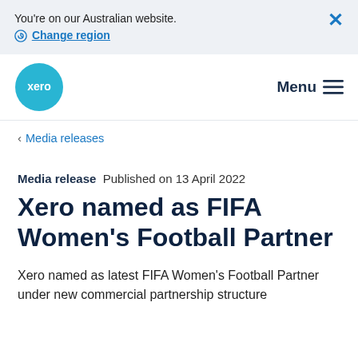You’re on our Australian website. Change region
[Figure (logo): Xero logo - teal circle with 'xero' text in white]
Menu
< Media releases
Media release  Published on 13 April 2022
Xero named as FIFA Women’s Football Partner
Xero named as latest FIFA Women’s Football Partner under new commercial partnership structure